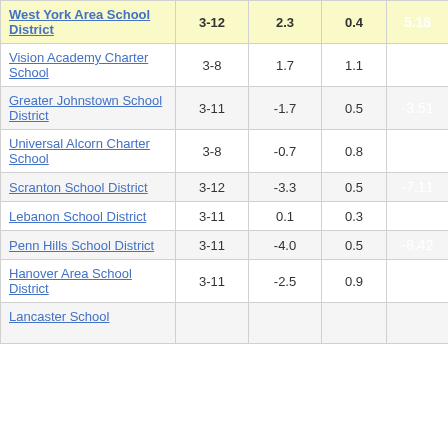| District/School | Grades | Avg Change | Std Dev | Score |
| --- | --- | --- | --- | --- |
| West York Area School District | 3-12 | 2.3 | 0.4 | 5.18 |
| Vision Academy Charter School | 3-8 | 1.7 | 1.1 | 1.45 |
| Greater Johnstown School District | 3-11 | -1.7 | 0.5 | -3.51 |
| Universal Alcorn Charter School | 3-8 | -0.7 | 0.8 | -0.87 |
| Scranton School District | 3-12 | -3.3 | 0.5 | -7.11 |
| Lebanon School District | 3-11 | 0.1 | 0.3 | 0.17 |
| Penn Hills School District | 3-11 | -4.0 | 0.5 | -8.42 |
| Hanover Area School District | 3-11 | -2.5 | 0.9 | -2.86 |
| Lancaster School... | ... | ... | ... | ... |